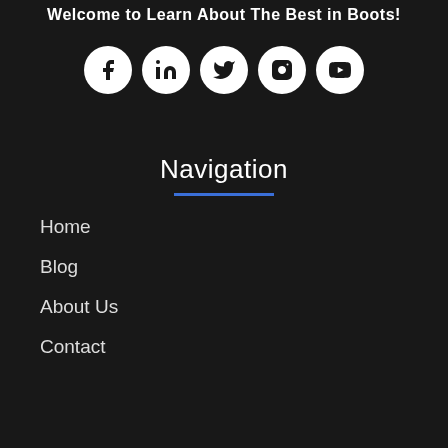Welcome to Learn About The Best in Boots!
[Figure (infographic): Row of 5 white circular social media icon buttons: Facebook, LinkedIn, Twitter, Instagram, YouTube]
Navigation
Home
Blog
About Us
Contact